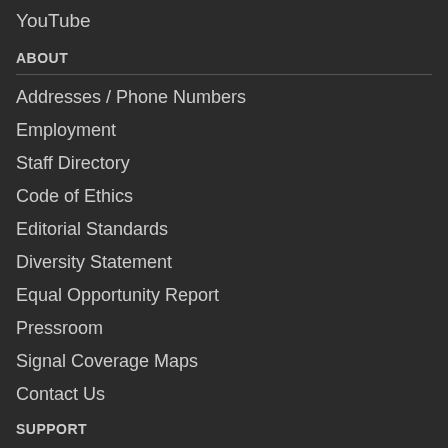YouTube
ABOUT
Addresses / Phone Numbers
Employment
Staff Directory
Code of Ethics
Editorial Standards
Diversity Statement
Equal Opportunity Report
Pressroom
Signal Coverage Maps
Contact Us
SUPPORT